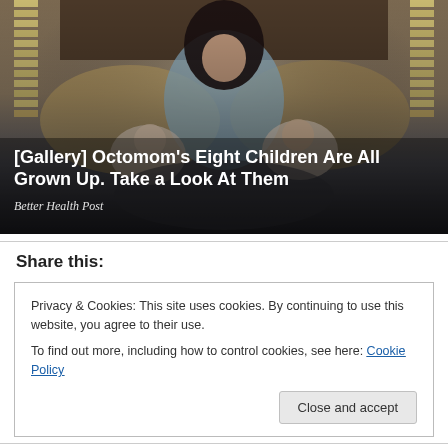[Figure (photo): Woman with dark hair in light blue top sitting on a bed holding two newborn babies, with wooden headboard and window blinds in background. Title overlay reads '[Gallery] Octomom's Eight Children Are All Grown Up. Take a Look At Them' with source 'Better Health Post']
Share this:
Privacy & Cookies: This site uses cookies. By continuing to use this website, you agree to their use.
To find out more, including how to control cookies, see here: Cookie Policy